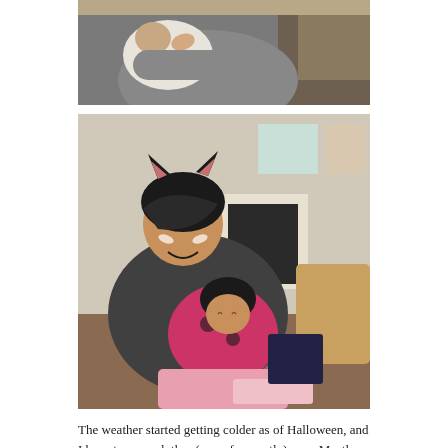[Figure (photo): A man in a grey t-shirt holding a newborn baby wrapped in white cloth, outdoors.]
[Figure (photo): A smiling Asian woman dressed as a cat (cat ear headband, face paint whiskers) holding a sleeping baby dressed in a red ladybug costume with black wig, indoors near a fireplace.]
The weather started getting colder as of Halloween, and I have to wear clothes (more frequently) now. Mostly hand-me-down boys